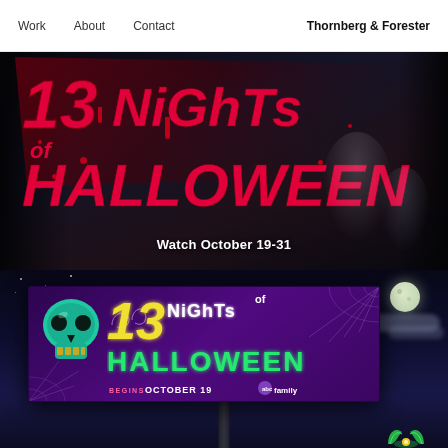Work  About  Contact  Thornberg & Forester
[Figure (photo): 13 Nights of Halloween promotional digital graphic with red stylized text on dark spooky background with shadowy figures. Text reads '13 NIGHTS OF HALLOWEEN' with 'Watch October 19-31' below.]
[Figure (photo): Billboard mock-up showing '13 Nights of Halloween' advertisement with glowing teal skull, yellow and green neon-style text on purple background, 'BEGINS OCTOBER 19 abc family' at bottom. Billboard is on a pole against a night sky with full moon and clouds.]